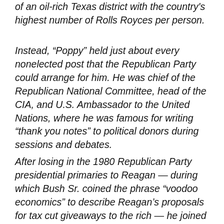of an oil-rich Texas district with the country's highest number of Rolls Royces per person.
Instead, “Poppy” held just about every nonelected post that the Republican Party could arrange for him. He was chief of the Republican National Committee, head of the CIA, and U.S. Ambassador to the United Nations, where he was famous for writing “thank you notes” to political donors during sessions and debates.
After losing in the 1980 Republican Party presidential primaries to Reagan — during which Bush Sr. coined the phrase “voodoo economics” to describe Reagan’s proposals for tax cut giveaways to the rich — he joined the ticket and became vice president. During the Reagan presidency, his connections as both a former spymaster and an oil industry crony made him the point man for the administration’s dealings of all manner...